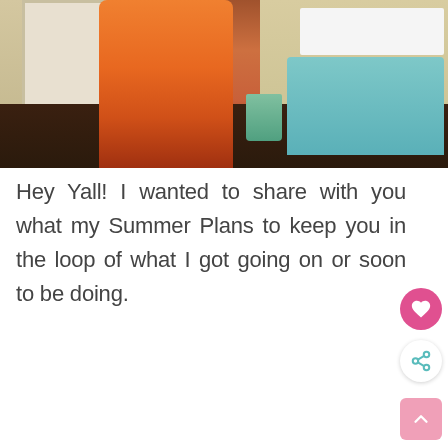[Figure (photo): A woman wearing an orange floral wrap dress standing in a home entryway with dark wood floors, a white door, a blue upholstered chair with a white fluffy pillow, and a teal vase with dried branches.]
Hey Yall!  I wanted to share with you what my Summer Plans to keep you in the loop of what I got going on or soon to be doing.